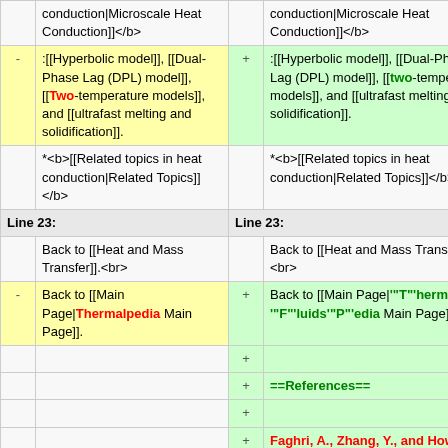| -/+ | Left | Right |
| --- | --- | --- |
|  | conduction|Microscale Heat Conduction]]</b> | conduction|Microscale Heat Conduction]]</b> |
| - | :[[Hyperbolic model]], [[Dual-Phase Lag (DPL) model]], [[Two-temperature models]], and [[ultrafast melting and solidification]]. | +:[[Hyperbolic model]], [[Dual-Phase Lag (DPL) model]], [[two-temperature models]], and [[ultrafast melting and solidification]]. |
|  | *<b>[[Related topics in heat conduction|Related Topics]]</b> | *<b>[[Related topics in heat conduction|Related Topics]]</b> |
| Line 23: |  | Line 23: |
|  | Back to [[Heat and Mass Transfer]].<br> | Back to [[Heat and Mass Transfer]].<br> |
| - | Back to [[Main Page|Thermalpedia Main Page]]. | +Back to [[Main Page|'"T"'hermal-'"F"'luids'"P"'edia Main Page]]. |
| + |  |  |
| +==References== |  |  |
| + |  |  |
| +Faghri, A., Zhang, Y., and Howell, J. R., 2010, "Advanced Heat and |  |  |